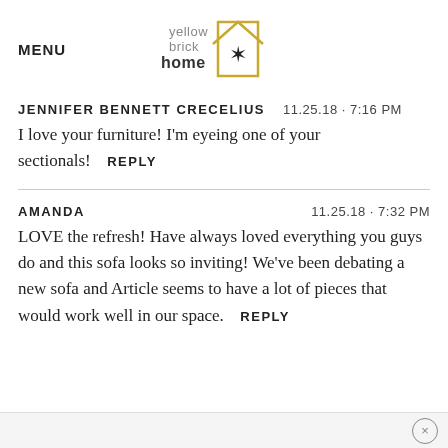MENU
[Figure (logo): Yellow Brick Home logo with house outline and star]
JENNIFER BENNETT CRECELIUS   11.25.18 · 7:16 PM
I love your furniture! I'm eyeing one of your sectionals!   REPLY
AMANDA   11.25.18 · 7:32 PM
LOVE the refresh! Have always loved everything you guys do and this sofa looks so inviting! We've been debating a new sofa and Article seems to have a lot of pieces that would work well in our space.   REPLY
×